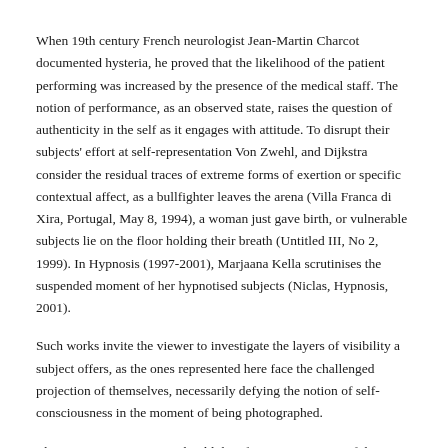When 19th century French neurologist Jean-Martin Charcot documented hysteria, he proved that the likelihood of the patient performing was increased by the presence of the medical staff. The notion of performance, as an observed state, raises the question of authenticity in the self as it engages with attitude. To disrupt their subjects' effort at self-representation Von Zwehl, and Dijkstra consider the residual traces of extreme forms of exertion or specific contextual affect, as a bullfighter leaves the arena (Villa Franca di Xira, Portugal, May 8, 1994), a woman just gave birth, or vulnerable subjects lie on the floor holding their breath (Untitled III, No 2, 1999). In Hypnosis (1997-2001), Marjaana Kella scrutinises the suspended moment of her hypnotised subjects (Niclas, Hypnosis, 2001).
Such works invite the viewer to investigate the layers of visibility a subject offers, as the ones represented here face the challenged projection of themselves, necessarily defying the notion of self-consciousness in the moment of being photographed.
The viewer's examination should therefore remain aware of the body's performative quality.
Images mediate a cultural coding. Acknowledging this dimension, Cindy Sherman's work reveals how conventionalised appearances are acted out. (Untitled Film Stills, #13, 1978). The work concerns from a gender context...